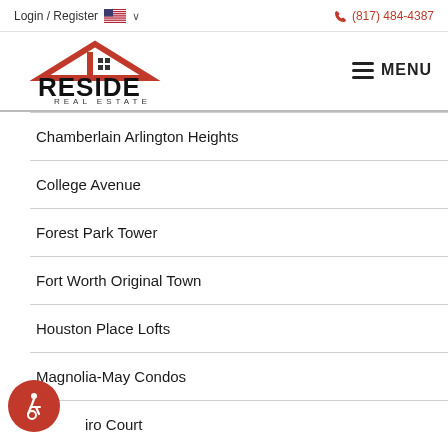Login / Register   🇺🇸 ∨         (817) 484-4387
[Figure (logo): Reside Real Estate logo with red house roofline and black bold text]
Chamberlain Arlington Heights
College Avenue
Forest Park Tower
Fort Worth Original Town
Houston Place Lofts
Magnolia-May Condos
...iro Court